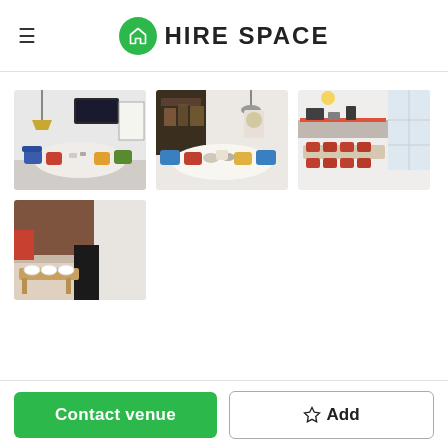HIRE SPACE
[Figure (photo): Meeting room with white oval table, colorful chairs, TV screen on wall, whiteboard]
[Figure (photo): Meeting room with white oval table, colorful chairs, decorative items, industrial lamp]
[Figure (photo): Bright meeting room with long white table, wooden chairs, large windows]
[Figure (photo): Close-up of wooden table with white mugs/bowls, seating area]
Contact venue
Add